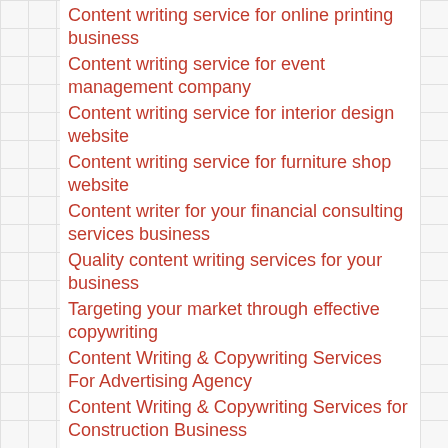Content writing service for online printing business
Content writing service for event management company
Content writing service for interior design website
Content writing service for furniture shop website
Content writer for your financial consulting services business
Quality content writing services for your business
Targeting your market through effective copywriting
Content Writing & Copywriting Services For Advertising Agency
Content Writing & Copywriting Services for Construction Business
Content writing for AdWords campaign